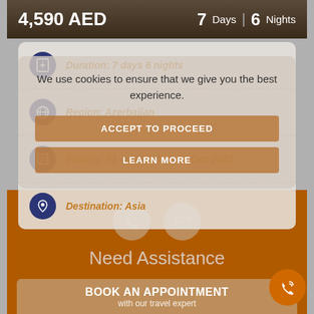4,590 AED   7 Days | 6 Nights
Duration: 7 days 6 nights
Region: Azerbaijan
Validity: 01 Jun 2022 to 31 Dec 2022
Destination: Asia
We use cookies to ensure that we give you the best experience.
ACCEPT TO PROCEED
LEARN MORE
Need Assistance
BOOK AN APPOINTMENT
with our travel expert